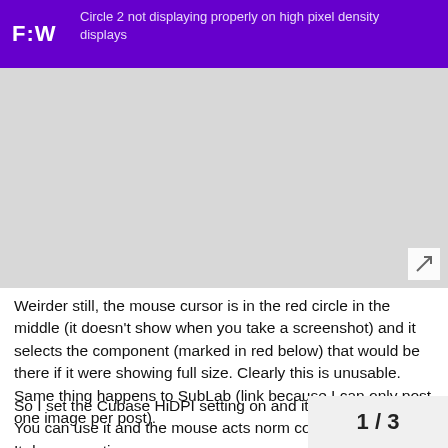F:W — Circle 2 not displaying properly on high pixel density displays
[Figure (screenshot): Grey placeholder image area with expand/resize icon in bottom right corner]
Weirder still, the mouse cursor is in the red circle in the middle (it doesn't show when you take a screenshot) and it selects the component (marked in red below) that would be there if it were showing full size. Clearly this is unusable. Same thing happens to SubLab (link because I can only post one image per post).
So I set the Cubase HiDPI setting on and it looks way better. You can use it and the mouse acts norm component it's over. It does sometimes
1 / 3